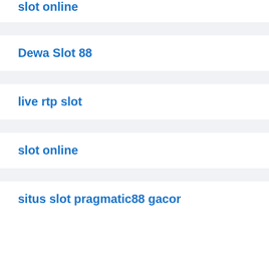slot online
Dewa Slot 88
live rtp slot
slot online
situs slot pragmatic88 gacor